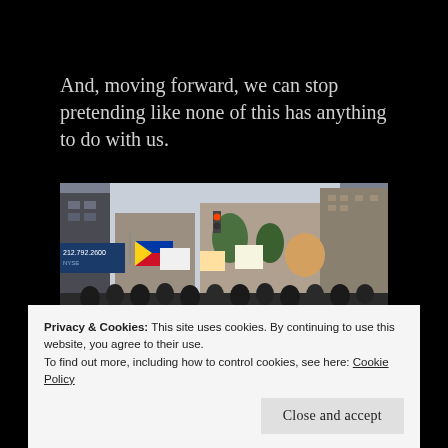And, moving forward, we can stop pretending like none of this has anything to do with us.
[Figure (photo): Protest march on a city street with people carrying flags and banners. A large banner reads 'RESIST DUTERTE'S FASCIST DICTATORSHIP! DEFEND HUMAN RIGHTS & DEMOCRACY IN THE PHILIPPINES!']
Privacy & Cookies: This site uses cookies. By continuing to use this website, you agree to their use.
To find out more, including how to control cookies, see here: Cookie Policy
Close and accept